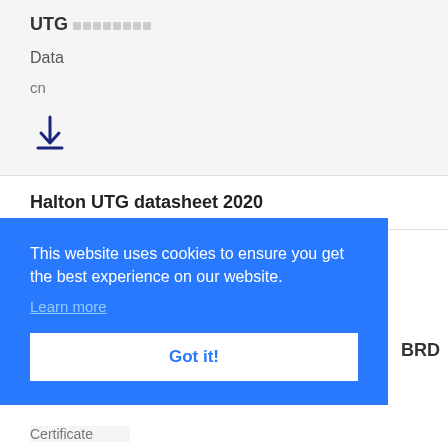UTG ▪▪▪▪▪▪▪▪
Data
cn
[Figure (other): Download arrow icon with underline]
Halton UTG datasheet 2020
This website uses cookies to ensure you get the best experience on our website. Learn more
Got it!
BRD
Certificate